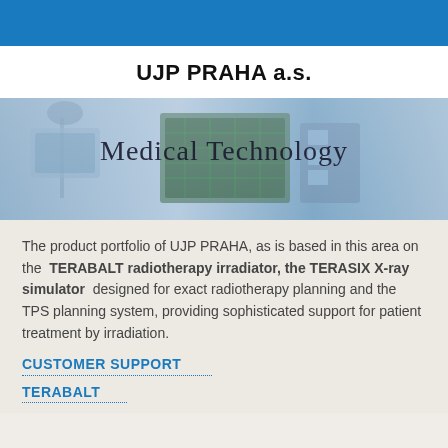UJP PRAHA a.s.
[Figure (photo): Medical technology equipment photo showing radiotherapy and imaging devices with 'Medical Technology' text overlay]
The product portfolio of UJP PRAHA, as is based in this area on the TERABALT radiotherapy irradiator, the TERASIX X-ray simulator designed for exact radiotherapy planning and the TPS planning system, providing sophisticated support for patient treatment by irradiation.
CUSTOMER SUPPORT
TERABALT